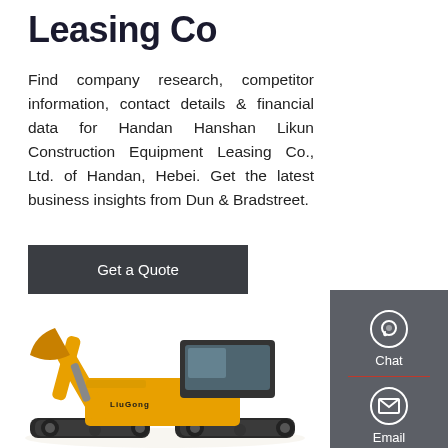Leasing Co
Find company research, competitor information, contact details & financial data for Handan Hanshan Likun Construction Equipment Leasing Co., Ltd. of Handan, Hebei. Get the latest business insights from Dun & Bradstreet.
Get a Quote
[Figure (photo): Yellow LiuGong mini excavator construction equipment on white background]
[Figure (infographic): Gray sidebar with Chat (headset icon), Email (envelope icon), and Contact (speech bubble icon) options separated by red dividers]